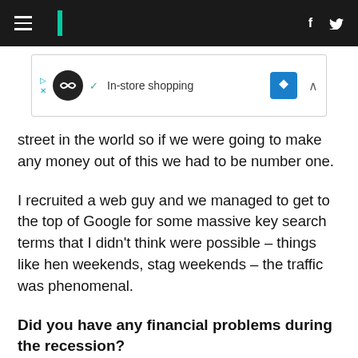HuffPost navigation header with hamburger menu, logo, Facebook and Twitter icons
[Figure (screenshot): Advertisement banner with circular logo, checkmark 'In-store shopping' text, blue diamond icon, and collapse caret]
street in the world so if we were going to make any money out of this we had to be number one.
I recruited a web guy and we managed to get to the top of Google for some massive key search terms that I didn't think were possible – things like hen weekends, stag weekends – the traffic was phenomenal.
Did you have any financial problems during the recession?